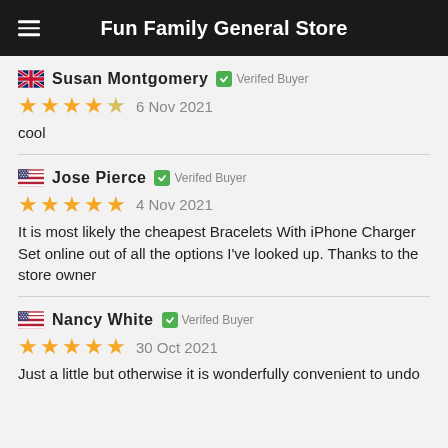Fun Family General Store
🇬🇧 Susan Montgomery ✅ Verifed Buyer
⭐⭐⭐⭐½  6 Nov 2021
cool
🇺🇸 Jose Pierce ✅ Verifed Buyer
⭐⭐⭐⭐⭐  4 Nov 2021
It is most likely the cheapest Bracelets With iPhone Charger Set online out of all the options I've looked up. Thanks to the store owner
🇺🇸 Nancy White ✅ Verifed Buyer
⭐⭐⭐⭐⭐  30 Oct 2021
Just a little but otherwise it is wonderfully convenient to undo